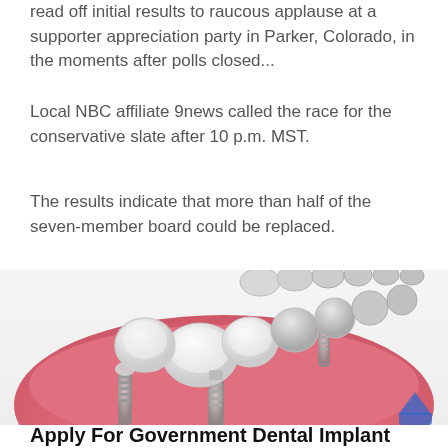read off initial results to raucous applause at a supporter appreciation party in Parker, Colorado, in the moments after polls closed...
Local NBC affiliate 9news called the race for the conservative slate after 10 p.m. MST.
The results indicate that more than half of the seven-member board could be replaced.
[Figure (illustration): 3D medical illustration of dental implants in a lower jaw, showing teeth, gums, and titanium implant screws.]
Apply For Government Dental Implant